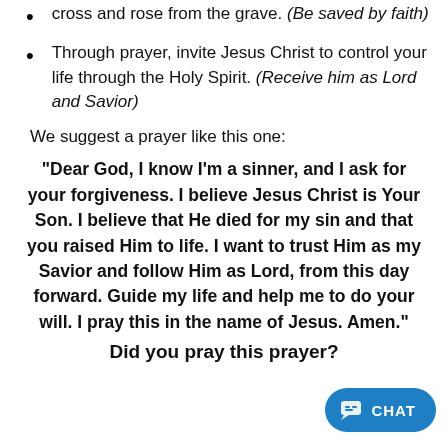Believe that Jesus Christ died for you on the cross and rose from the grave. (Be saved by faith)
Through prayer, invite Jesus Christ to control your life through the Holy Spirit. (Receive him as Lord and Savior)
We suggest a prayer like this one:
"Dear God, I know I’m a sinner, and I ask for your forgiveness. I believe Jesus Christ is Your Son. I believe that He died for my sin and that you raised Him to life. I want to trust Him as my Savior and follow Him as Lord, from this day forward. Guide my life and help me to do your will. I pray this in the name of Jesus. Amen."
Did you pray this prayer?